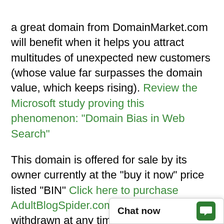a great domain from DomainMarket.com will benefit when it helps you attract multitudes of unexpected new customers (whose value far surpasses the domain value, which keeps rising). Review the Microsoft study proving this phenomenon: "Domain Bias in Web Search"
This domain is offered for sale by its owner currently at the "buy it now" price listed "BIN" Click here to purchase AdultBlogSpider.com, but could be withdrawn at any time or its price potentially substantially raised. Also, once sold, the next owner, your domain competitor, would likely never re-sell it again, especially to his competitor; and would instead try to take all your customers and potential customers, year after year, to the extent possible, which you should do t domain first.